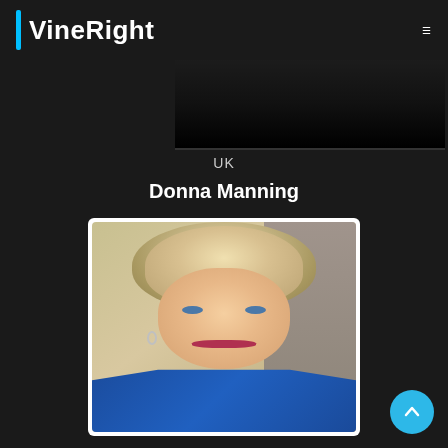VineRight
[Figure (photo): Dark top banner area with image]
UK
Donna Manning
[Figure (photo): Portrait photo of a woman with short curly blonde/grey hair, blue eyes, red lipstick, wearing a blue blazer. She is smiling at the camera.]